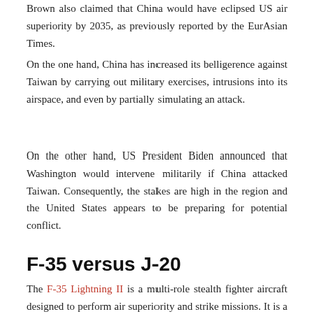Brown also claimed that China would have eclipsed US air superiority by 2035, as previously reported by the EurAsian Times.
On the one hand, China has increased its belligerence against Taiwan by carrying out military exercises, intrusions into its airspace, and even by partially simulating an attack.
On the other hand, US President Biden announced that Washington would intervene militarily if China attacked Taiwan. Consequently, the stakes are high in the region and the United States appears to be preparing for potential conflict.
F-35 versus J-20
The F-35 Lightning II is a multi-role stealth fighter aircraft designed to perform air superiority and strike missions. It is a single-seat, single-engine multi-role stealth fighter aircraft that can fly in all weathers. It also has electronic warfare, intelligence, surveillance